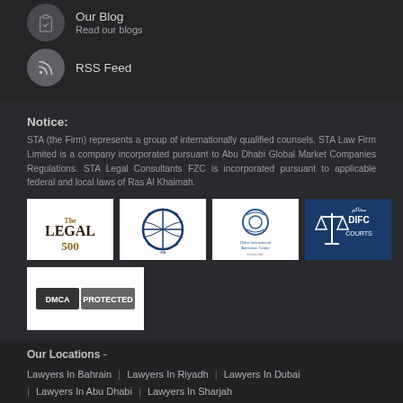Our Blog
Read our blogs
RSS Feed
Notice:
STA (the Firm) represents a group of internationally qualified counsels. STA Law Firm Limited is a company incorporated pursuant to Abu Dhabi Global Market Companies Regulations. STA Legal Consultants FZC is incorporated pursuant to applicable federal and local laws of Ras Al Khaimah.
[Figure (logo): The Legal 500 logo]
[Figure (logo): IBA International Bar Association logo]
[Figure (logo): Dubai International Arbitration Centre logo]
[Figure (logo): DIFC Courts logo]
[Figure (logo): DMCA Protected badge]
Our Locations  -
Lawyers In Bahrain
Lawyers In Riyadh
Lawyers In Dubai
Lawyers In Abu Dhabi
Lawyers In Sharjah